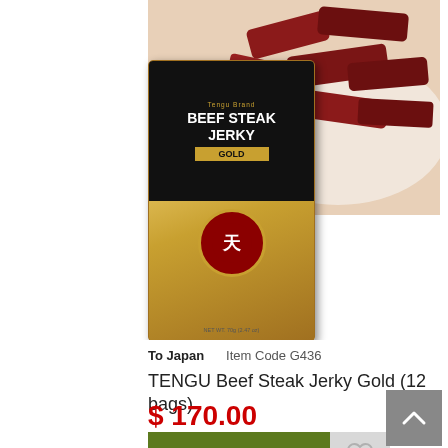[Figure (photo): Product image showing TENGU Beef Steak Jerky Gold package (gold foil bag with black top and red circular logo) alongside loose jerky pieces on a white plate, and a raw steak on dark background below]
To Japan    Item Code G436
TENGU Beef Steak Jerky Gold (12 bags)
$ 170.00
More